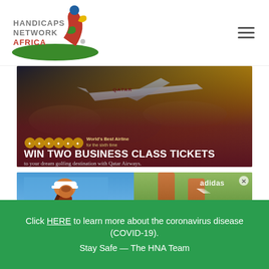[Figure (logo): Handicaps Network Africa logo — golfer silhouette with green oval, red/yellow/green accents, text HANDICAPS NETWORK AFRICA]
[Figure (infographic): Qatar Airways advertisement banner: airplane over dramatic sky, golden medals, text 'WIN TWO BUSINESS CLASS TICKETS to your dream golfing destination with Qatar Airways.' World's Best Airline for the sixth time.]
[Figure (photo): Adidas advertisement: left panel shows female golfer looking up against blue sky; right panel shows close-up of athletic legs/shoes on grass with adidas logo and X close button.]
Click HERE to learn more about the coronavirus disease (COVID-19).
Stay Safe — The HNA Team